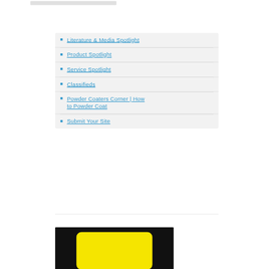[Figure (other): Partial top bar element visible at top of page, grey/light colored bar]
Literature & Media Spotlight
Product Spotlight
Service Spotlight
Classifieds
Powder Coaters Corner | How to Powder Coat
Submit Your Site
[Figure (photo): Black background with a yellow rounded rectangle shape, partially visible at bottom of page]